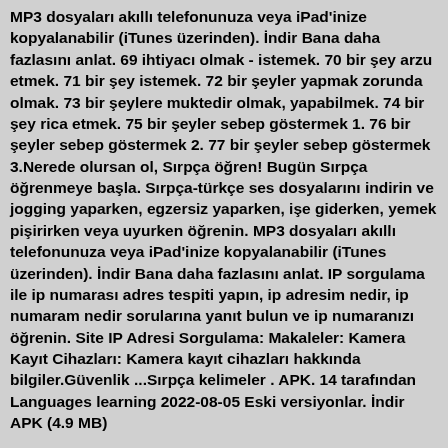MP3 dosyaları akıllı telefonunuza veya iPad'inize kopyalanabilir (iTunes üzerinden). İndir Bana daha fazlasını anlat. 69 ihtiyacı olmak - istemek. 70 bir şey arzu etmek. 71 bir şey istemek. 72 bir şeyler yapmak zorunda olmak. 73 bir şeylere muktedir olmak, yapabilmek. 74 bir şey rica etmek. 75 bir şeyler sebep göstermek 1. 76 bir şeyler sebep göstermek 2. 77 bir şeyler sebep göstermek 3.Nerede olursan ol, Sırpça öğren! Bugün Sırpça öğrenmeye başla. Sırpça-türkçe ses dosyalarını indirin ve jogging yaparken, egzersiz yaparken, işe giderken, yemek pişirirken veya uyurken öğrenin. MP3 dosyaları akıllı telefonunuza veya iPad'inize kopyalanabilir (iTunes üzerinden). İndir Bana daha fazlasını anlat. IP sorgulama ile ip numarası adres tespiti yapın, ip adresim nedir, ip numaram nedir sorularına yanıt bulun ve ip numaranızı öğrenin. Site IP Adresi Sorgulama: Makaleler: Kamera Kayıt Cihazları: Kamera kayıt cihazları hakkında bilgiler.Güvenlik ...Sırpça kelimeler . APK. 14 tarafından Languages learning 2022-08-05 Eski versiyonlar. İndir APK (4.9 MB)